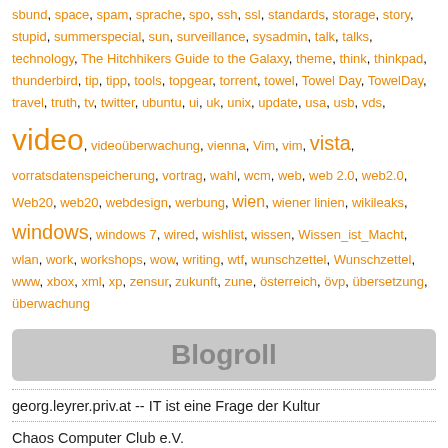sbund, space, spam, sprache, spo, ssh, ssl, standards, storage, story, stupid, summerspecial, sun, surveillance, sysadmin, talk, talks, technology, The Hitchhikers Guide to the Galaxy, theme, think, thinkpad, thunderbird, tip, tipp, tools, topgear, torrent, towel, Towel Day, TowelDay, travel, truth, tv, twitter, ubuntu, ui, uk, unix, update, usa, usb, vds, video, videoüberwachung, vienna, Vim, vim, vista, vorratsdatenspeicherung, vortrag, wahl, wcm, web, web 2.0, web2.0, Web20, web20, webdesign, werbung, wien, wiener linien, wikileaks, windows, windows 7, wired, wishlist, wissen, Wissen_ist_Macht, wlan, work, workshops, wow, writing, wtf, wunschzettel, Wunschzettel, www, xbox, xml, xp, zensur, zukunft, zune, österreich, övp, übersetzung, überwachung
Blogroll
georg.leyrer.priv.at -- IT ist eine Frage der Kultur
Chaos Computer Club e.V.
cpu.ccc.de
CCC Termine
CryptoParty Austria